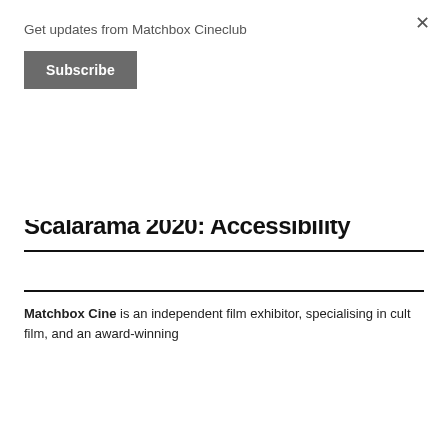Get updates from Matchbox Cineclub
Subscribe
Scalarama 2020: Inclusion
NEXT
Scalarama 2020: Accessibility
Matchbox Cine is an independent film exhibitor, specialising in cult film, and an award-winning